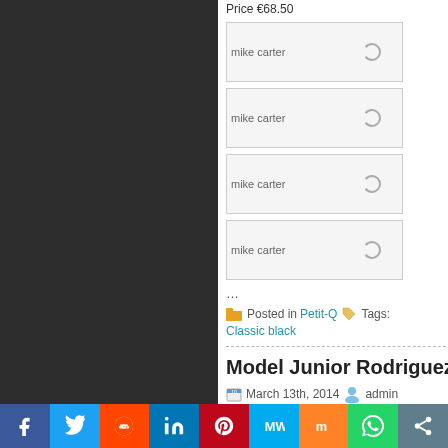Price €68.50
[Figure (photo): mike carter image placeholder with loading spinner]
[Figure (photo): mike carter image placeholder with loading spinner]
[Figure (photo): mike carter image placeholder with loading spinner]
[Figure (photo): mike carter image placeholder with loading spinner]
...
Posted in Petit-Q   Tags: Classic black
Model Junior Rodriguez
March 13th, 2014   admin
These hot images were taken... Rodriguez is wearing PetitQ.
[Figure (photo): Image thumbnail placeholder]